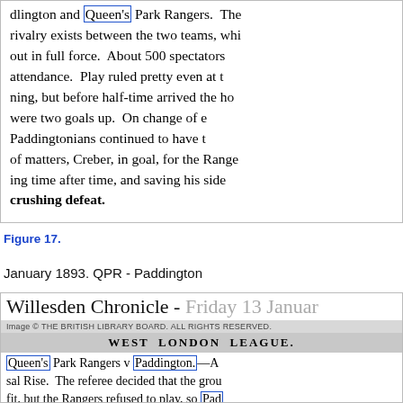[Figure (screenshot): Clipping from a historical newspaper showing a match report about Paddington and Queen's Park Rangers. Text mentions rivalry, 500 spectators, half-time, Paddingtonians, Creber in goal, saving his side from a crushing defeat.]
Figure 17.
January 1893. QPR - Paddington
[Figure (screenshot): Willesden Chronicle - Friday 13 January newspaper clipping. Shows 'WEST LONDON LEAGUE.' header, then article about Queen's Park Rangers v Paddington. Text mentions the referee decided that the ground was not fit, but the Rangers refused to play, so Paddington kicked a goal and claimed the match.]